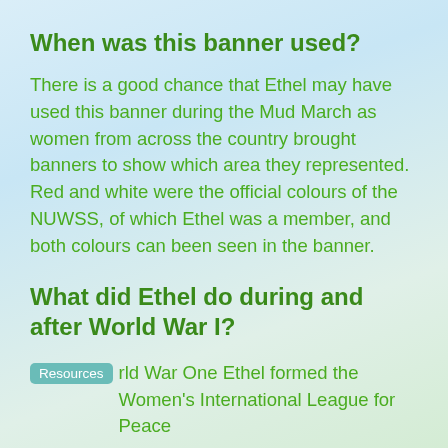When was this banner used?
There is a good chance that Ethel may have used this banner during the Mud March as women from across the country brought banners to show which area they represented. Red and white were the official colours of the NUWSS, of which Ethel was a member, and both colours can been seen in the banner.
What did Ethel do during and after World War I?
Resources rld War One Ethel formed the Women's International League for Peace